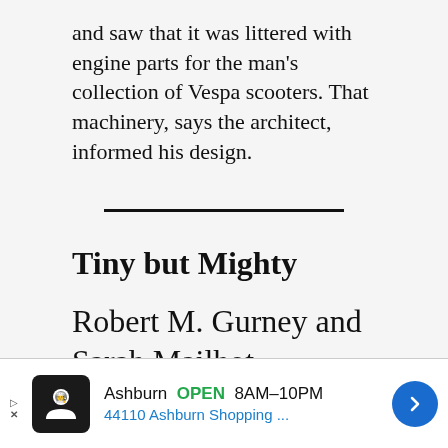and saw that it was littered with engine parts for the man's collection of Vespa scooters. That machinery, says the architect, informed his design.
[Figure (other): Horizontal divider line separating article sections]
Tiny but Mighty
Robert M. Gurney and Sarah Mailhot
Robert M. Gurney Architect
[Figure (other): Advertisement banner: Ashburn OPEN 8AM-10PM, 44110 Ashburn Shopping...]